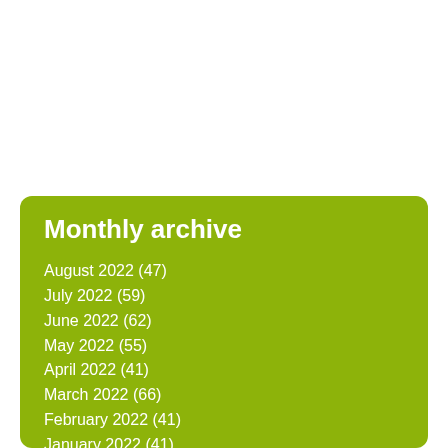Monthly archive
August 2022 (47)
July 2022 (59)
June 2022 (62)
May 2022 (55)
April 2022 (41)
March 2022 (66)
February 2022 (41)
January 2022 (41)